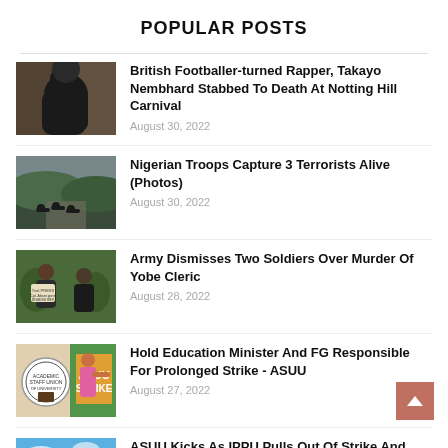POPULAR POSTS
British Footballer-turned Rapper, Takayo Nembhard Stabbed To Death At Notting Hill Carnival
Nigerian Troops Capture 3 Terrorists Alive (Photos)
Army Dismisses Two Soldiers Over Murder Of Yobe Cleric
Hold Education Minister And FG Responsible For Prolonged Strike - ASUU
ASUU Kicks As IPPU Pulls Out Of Strike And…